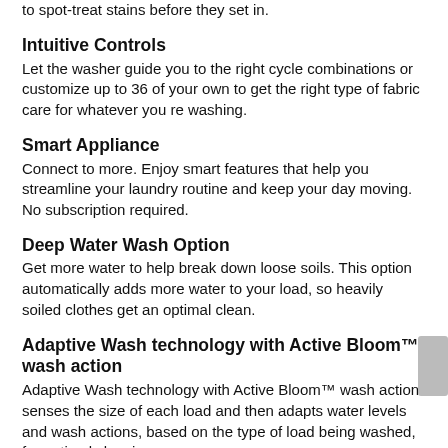to spot-treat stains before they set in.
Intuitive Controls
Let the washer guide you to the right cycle combinations or customize up to 36 of your own to get the right type of fabric care for whatever you re washing.
Smart Appliance
Connect to more. Enjoy smart features that help you streamline your laundry routine and keep your day moving. No subscription required.
Deep Water Wash Option
Get more water to help break down loose soils. This option automatically adds more water to your load, so heavily soiled clothes get an optimal clean.
Adaptive Wash technology with Active Bloom™ wash action
Adaptive Wash technology with Active Bloom™ wash action senses the size of each load and then adapts water levels and wash actions, based on the type of load being washed, for optimal cleaning.